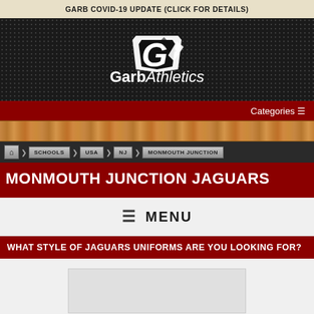GARB COVID-19 UPDATE (CLICK FOR DETAILS)
[Figure (logo): Garb Athletics logo with stylized G icon on dark perforated background]
Categories ≡
[Figure (photo): Wood plank texture banner]
⌂ > SCHOOLS > USA > NJ > MONMOUTH JUNCTION
MONMOUTH JUNCTION JAGUARS
≡ MENU
WHAT STYLE OF JAGUARS UNIFORMS ARE YOU LOOKING FOR?
[Figure (photo): Product preview placeholder image]